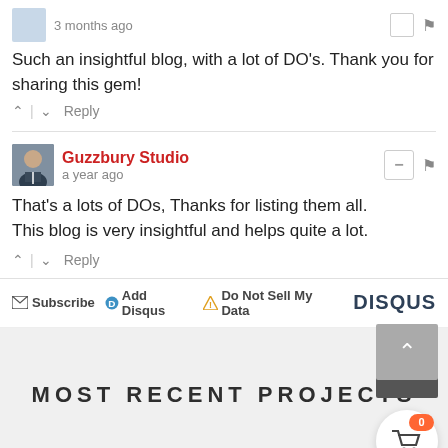3 months ago
Such an insightful blog, with a lot of DO's. Thank you for sharing this gem!
↑ | ↓ Reply
Guzzbury Studio
a year ago
That's a lots of DOs, Thanks for listing them all.
This blog is very insightful and helps quite a lot.
↑ | ↓ Reply
✉ Subscribe  ⓓ Add Disqus  ⚠ Do Not Sell My Data  DISQUS
MOST RECENT PROJECTS